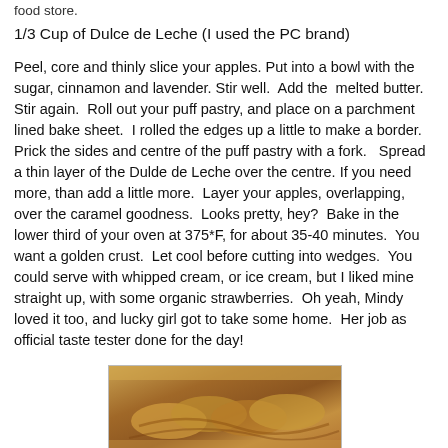food store.
1/3 Cup of Dulce de Leche (I used the PC brand)
Peel, core and thinly slice your apples. Put into a bowl with the sugar, cinnamon and lavender. Stir well.  Add the  melted butter.  Stir again.  Roll out your puff pastry, and place on a parchment lined bake sheet.  I rolled the edges up a little to make a border. Prick the sides and centre of the puff pastry with a fork.   Spread a thin layer of the Dulde de Leche over the centre. If you need more, than add a little more.  Layer your apples, overlapping, over the caramel goodness.  Looks pretty, hey?  Bake in the lower third of your oven at 375*F, for about 35-40 minutes.  You want a golden crust.  Let cool before cutting into wedges.  You could serve with whipped cream, or ice cream, but I liked mine straight up, with some organic strawberries.  Oh yeah, Mindy loved it too, and lucky girl got to take some home.  Her job as official taste tester done for the day!
[Figure (photo): Close-up photo of apple tart with caramel and overlapping apple slices on pastry]